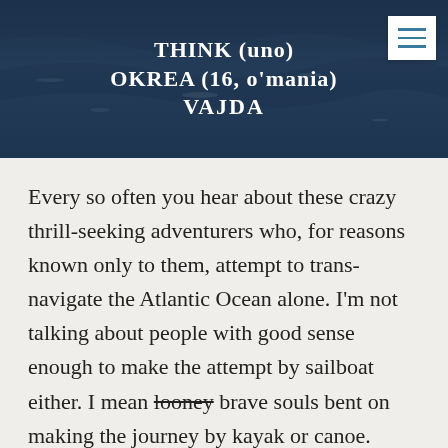[Figure (illustration): Ocean water background banner with bold white text: THINK (uno), OKREA (16, o'mania), VAJDA. A white menu icon with three horizontal teal lines appears in the top right corner.]
Every so often you hear about these crazy thrill-seeking adventurers who, for reasons known only to them, attempt to trans-navigate the Atlantic Ocean alone. I'm not talking about people with good sense enough to make the attempt by sailboat either. I mean looney brave souls bent on making the journey by kayak or canoe.